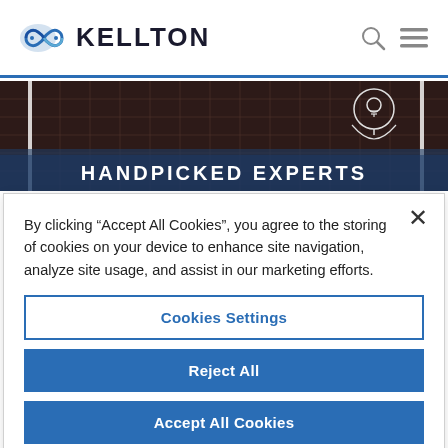[Figure (logo): Kellton logo with infinity symbol and bold text KELLTON]
[Figure (screenshot): Hero banner with dark grid background and light bulb head icon, title HANDPICKED EXPERTS]
By clicking “Accept All Cookies”, you agree to the storing of cookies on your device to enhance site navigation, analyze site usage, and assist in our marketing efforts.
Cookies Settings
Reject All
Accept All Cookies